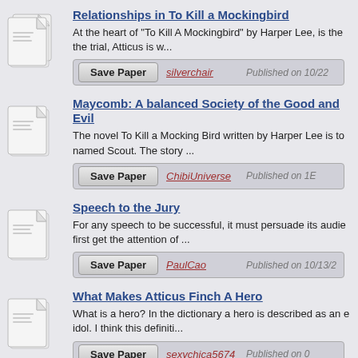Relationships in To Kill a Mockingbird
At the heart of “To Kill A Mockingbird” by Harper Lee, is the trial, Atticus is w...
silverchair | Published on 10/22
Maycomb: A balanced Society of the Good and Evil
The novel To Kill a Mocking Bird written by Harper Lee is to named Scout. The story ...
ChibiUniverse | Published on 16
Speech to the Jury
For any speech to be successful, it must persuade its audie first get the attention of ...
PaulCao | Published on 10/13/2
What Makes Atticus Finch A Hero
What is a hero? In the dictionary a hero is described as an idol. I think this definiti...
sexychica5674 | Published on 0